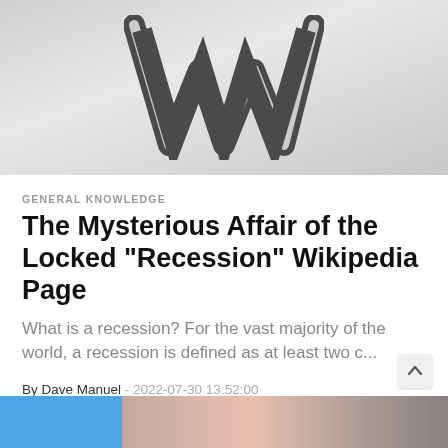[Figure (logo): Wikipedia W logo on a gray gradient background]
GENERAL KNOWLEDGE
The Mysterious Affair of the Locked "Recession" Wikipedia Page
What is a recession? For the vast majority of the world, a recession is defined as at least two c...
By Dave Manuel - 2022-07-30 13:52:00
[Figure (photo): Bottom strip showing partial images — a blue section and a photo section]